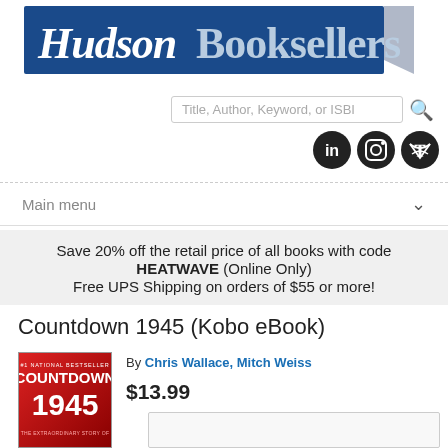[Figure (logo): Hudson Booksellers logo — dark blue banner with white italic/bold text 'HudsonBooksellers' and a folded corner in grey]
Title, Author, Keyword, or ISBN
[Figure (illustration): Three circular social media icons (LinkedIn, Instagram, Twitter) in black]
Main menu
Save 20% off the retail price of all books with code HEATWAVE (Online Only)
Free UPS Shipping on orders of $55 or more!
Countdown 1945 (Kobo eBook)
[Figure (photo): Book cover for Countdown 1945 — red background with bold white title text COUNTDOWN 1945 and subtitle THE EXTRAORDINARY STORY OF]
By Chris Wallace, Mitch Weiss
$13.99